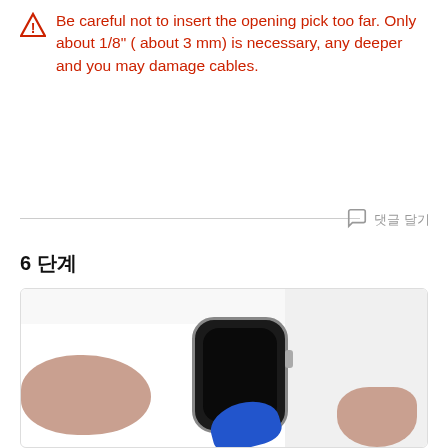Be careful not to insert the opening pick too far. Only about 1/8" ( about 3 mm) is necessary, any deeper and you may damage cables.
6 단계
[Figure (photo): Hands holding an Apple Watch with a blue opening pick being inserted at the bottom edge of the device, demonstrating the repair technique described in the warning.]